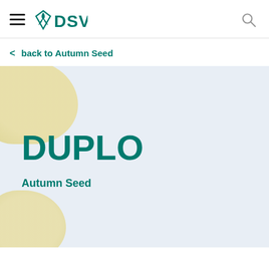DSV (logo with hamburger menu and search icon)
< back to Autumn Seed
DUPLO
Autumn Seed